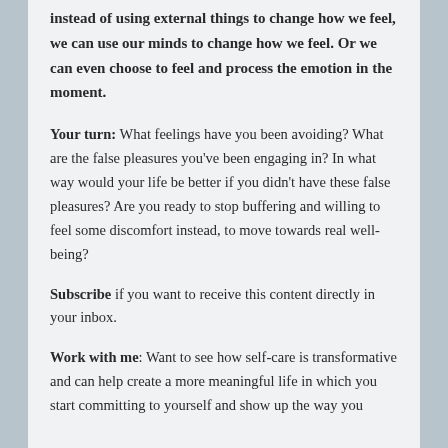Instead of using external things to change how we feel, we can use our minds to change how we feel. Or we can even choose to feel and process the emotion in the moment.
Your turn: What feelings have you been avoiding? What are the false pleasures you've been engaging in? In what way would your life be better if you didn't have these false pleasures? Are you ready to stop buffering and willing to feel some discomfort instead, to move towards real well-being?
Subscribe if you want to receive this content directly in your inbox.
Work with me: Want to see how self-care is transformative and can help create a more meaningful life in which you start committing to yourself and show up the way you